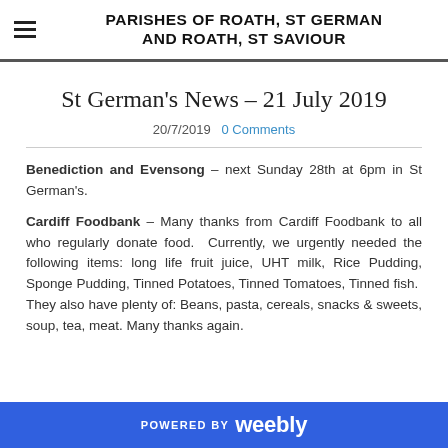PARISHES OF ROATH, ST GERMAN AND ROATH, ST SAVIOUR
St German's News – 21 July 2019
20/7/2019   0 Comments
Benediction and Evensong – next Sunday 28th at 6pm in St German's.
Cardiff Foodbank – Many thanks from Cardiff Foodbank to all who regularly donate food.  Currently, we urgently needed the following items: long life fruit juice, UHT milk, Rice Pudding, Sponge Pudding, Tinned Potatoes, Tinned Tomatoes, Tinned fish.  They also have plenty of: Beans, pasta, cereals, snacks & sweets, soup, tea, meat. Many thanks again.
POWERED BY weebly